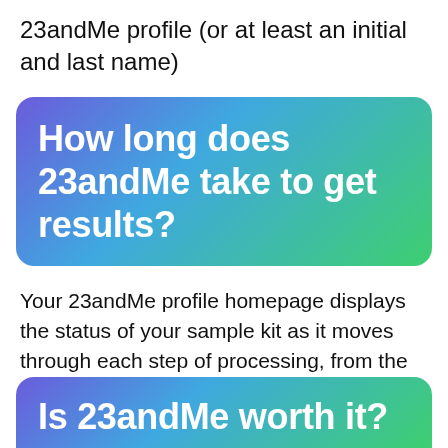23andMe profile (or at least an initial and last name)
How long does 23andMe take to get results?
Your 23andMe profile homepage displays the status of your sample kit as it moves through each step of processing, from the time you order to the time you receive your results. Results typically take 3-5 weeks from the time a registered sample is received at the lab.
Is 23andMe worth it?